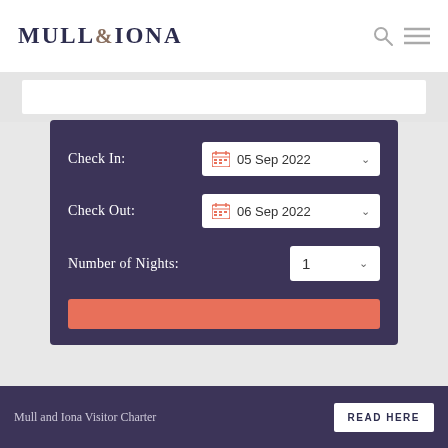MULL&IONA
Check In: 05 Sep 2022
Check Out: 06 Sep 2022
Number of Nights: 1
Mull and Iona Visitor Charter  READ HERE